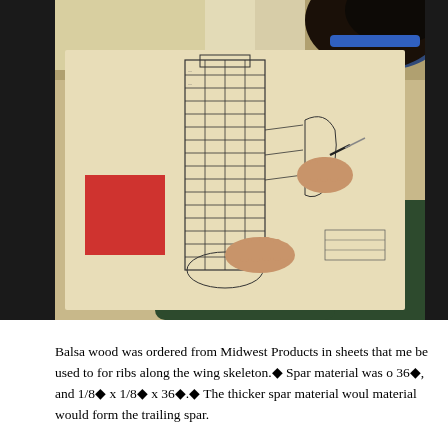[Figure (photo): A person (student) wearing a blue headband and dark green long-sleeve shirt, leaning over a large sheet of paper and drawing wing skeleton plans with a pencil/pen. The drawing shows a rectangular grid pattern representing a wing rib layout. There is a red object and some other papers visible on the table.]
Balsa wood was ordered from Midwest Products in sheets that me be used to for ribs along the wing skeleton.◆ Spar material was o 36◆, and 1/8◆ x 1/8◆ x 36◆.◆ The thicker spar material woul material would form the trailing spar.